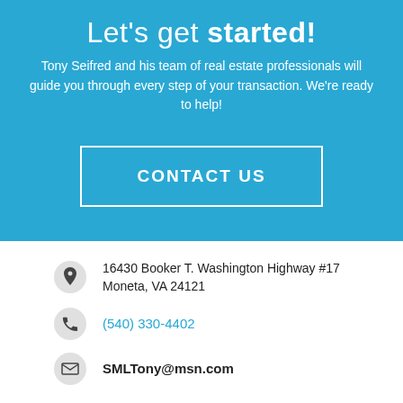Let's get started!
Tony Seifred and his team of real estate professionals will guide you through every step of your transaction. We're ready to help!
CONTACT US
16430 Booker T. Washington Highway #17
Moneta, VA 24121
(540) 330-4402
SMLTony@msn.com